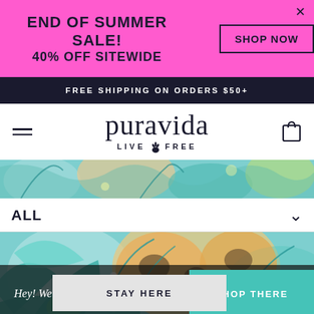END OF SUMMER SALE! 40% OFF SITEWIDE
SHOP NOW
FREE SHIPPING ON ORDERS $50+
[Figure (logo): Pura Vida logo with text 'puravida' and tagline 'LIVE FREE' with pineapple icon]
[Figure (illustration): Tropical leaf pattern illustration in teal, orange, and green colors]
ALL
[Figure (illustration): Tropical leaf pattern illustration in teal, orange, and green colors - main image strip]
Hey! We think you're in United States!
SHOP THERE
STAY HERE